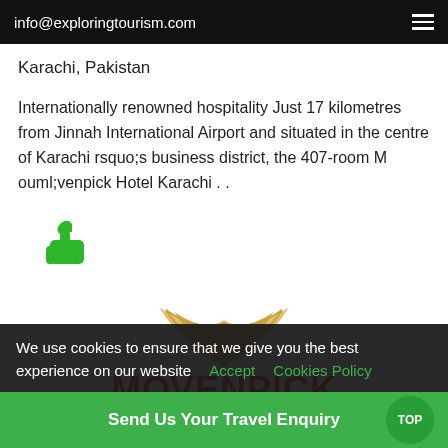info@exploringtourism.com
Karachi, Pakistan
Internationally renowned hospitality Just 17 kilometres from Jinnah International Airport and situated in the centre of Karachi rsquo;s business district, the 407-room M ouml;venpick Hotel Karachi . .
[Figure (illustration): Green thumbs up icon]
[Figure (logo): Mövenpick Hotel logo with golden bird/wing graphic and red MÖVENPICK text]
We use cookies to ensure that we give you the best experience on our website  Accept    Cookies Policy
Send Us Your Travel Enquiry